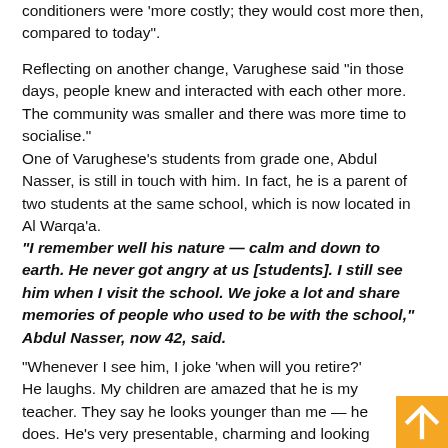conditioners were 'more costly; they would cost more then, compared to today".
Reflecting on another change, Varughese said “in those days, people knew and interacted with each other more. The community was smaller and there was more time to socialise.”
One of Varughese’s students from grade one, Abdul Nasser, is still in touch with him. In fact, he is a parent of two students at the same school, which is now located in Al Warqa’a.
“I remember well his nature — calm and down to earth. He never got angry at us [students]. I still see him when I visit the school. We joke a lot and share memories of people who used to be with the school,” Abdul Nasser, now 42, said.
“Whenever I see him, I joke ‘when will you retire?’ He laughs. My children are amazed that he is my teacher. They say he looks younger than me — he does. He’s very presentable, charming and looking good all the time,” added Nasser, a textile